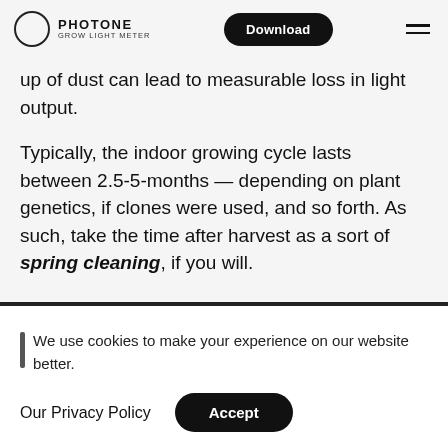PHOTONE GROW LIGHT METER | Download
up of dust can lead to measurable loss in light output.
Typically, the indoor growing cycle lasts between 2.5-5-months — depending on plant genetics, if clones were used, and so forth. As such, take the time after harvest as a sort of spring cleaning, if you will.
We use cookies to make your experience on our website better.
Our Privacy Policy   Accept